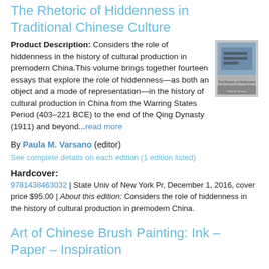The Rhetoric of Hiddenness in Traditional Chinese Culture
Product Description: Considers the role of hiddenness in the history of cultural production in premodern China.This volume brings together fourteen essays that explore the role of hiddenness—as both an object and a mode of representation—in the history of cultural production in China from the Warring States Period (403–221 BCE) to the end of the Qing Dynasty (1911) and beyond...read more
[Figure (photo): Book cover image of The Rhetoric of Hiddenness in Traditional Chinese Culture]
By Paula M. Varsano (editor)
See complete details on each edition (1 edition listed)
Hardcover:
9781438463032 | State Univ of New York Pr, December 1, 2016, cover price $95.00 | About this edition: Considers the role of hiddenness in the history of cultural production in premodern China.
Art of Chinese Brush Painting: Ink – Paper – Inspiration